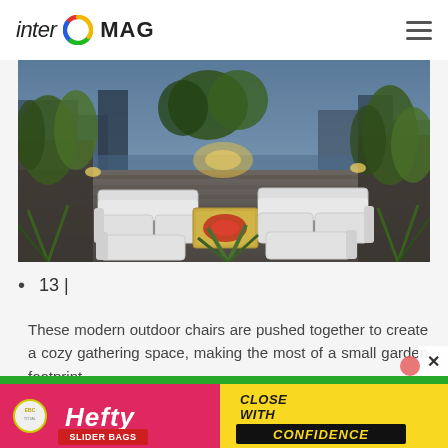inter MAG
[Figure (photo): Rooftop garden with white modern outdoor lounge chairs/sofas arranged in a U-shape, surrounded by lush plants and planters, city skyline and water visible in background, warm evening lighting]
13 |
These modern outdoor chairs are pushed together to create a cozy gathering space, making the most of a small garden footprint.
[Figure (infographic): Hefty advertisement banner: Hefty Slider bags - Close with Confidence. Yellow, pink/red and green background with Hefty branding.]